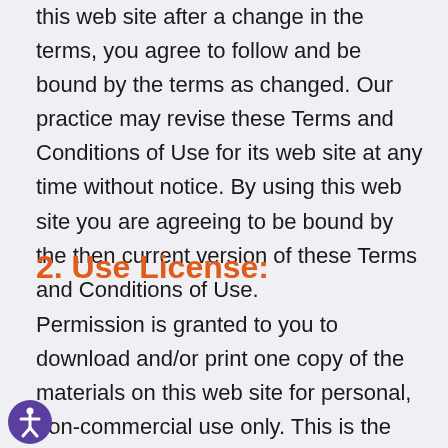this web site after a change in the terms, you agree to follow and be bound by the terms as changed. Our practice may revise these Terms and Conditions of Use for its web site at any time without notice. By using this web site you are agreeing to be bound by the then current version of these Terms and Conditions of Use.
2. Use License:
Permission is granted to you to download and/or print one copy of the materials on this web site for personal, non-commercial use only. This is the grant of a license, not a transfer of title, and under this license you may not: